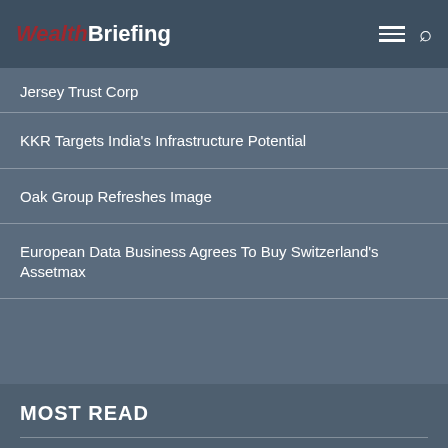WealthBriefing
Jersey Trust Corp
KKR Targets India's Infrastructure Potential
Oak Group Refreshes Image
European Data Business Agrees To Buy Switzerland's Assetmax
MOST READ